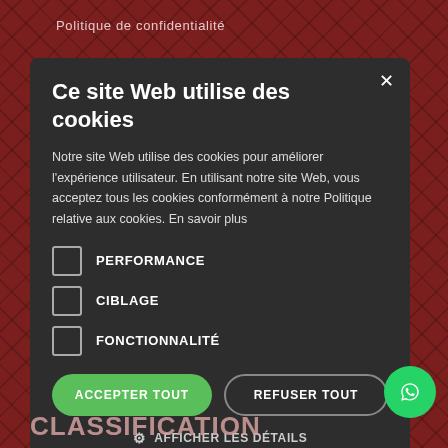Politique de confidentialité
Ce site Web utilise des cookies
Notre site Web utilise des cookies pour améliorer l'expérience utilisateur. En utilisant notre site Web, vous acceptez tous les cookies conformément à notre Politique relative aux cookies. En savoir plus
PERFORMANCE
CIBLAGE
FONCTIONNALITÉ
ACCEPTER TOUT
REFUSER TOUT
AFFICHER LES DÉTAILS
CLASSIFICATION